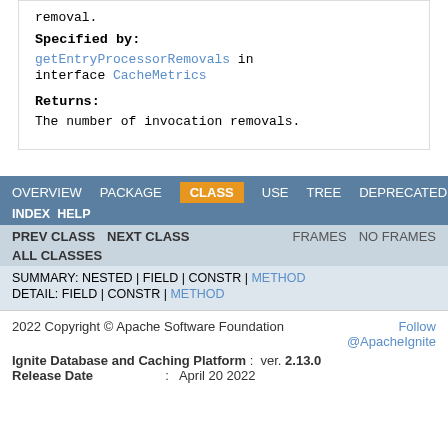removal.
Specified by:
getEntryProcessorRemovals in interface CacheMetrics
Returns:
The number of invocation removals.
OVERVIEW  PACKAGE  CLASS  USE  TREE  DEPRECATED
INDEX  HELP
PREV CLASS  NEXT CLASS  FRAMES  NO FRAMES
ALL CLASSES
SUMMARY: NESTED | FIELD | CONSTR | METHOD
DETAIL: FIELD | CONSTR | METHOD
2022 Copyright © Apache Software Foundation  Follow @ApacheIgnite
Ignite Database and Caching Platform : ver. 2.13.0
Release Date : April 20 2022